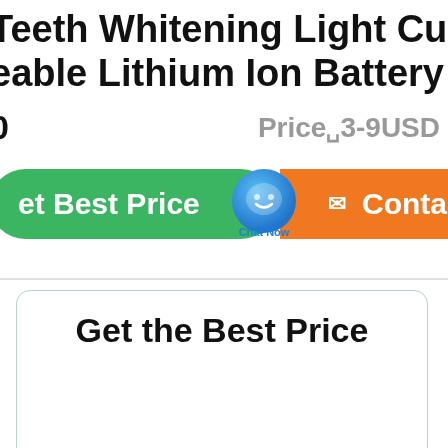Teeth Whitening Light Cure
eable Lithium Ion Battery Li-Ion
Price 3-9USD
[Figure (screenshot): Green 'Get Best Price' button on left, blue chat bubble with 'Chat Now' label in center, orange 'Contact' button on right]
Get the Best Price